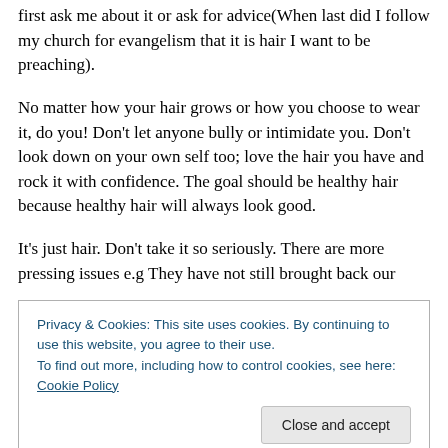first ask me about it or ask for advice(When last did I follow my church for evangelism that it is hair I want to be preaching).
No matter how your hair grows or how you choose to wear it, do you! Don't let anyone bully or intimidate you. Don't look down on your own self too; love the hair you have and rock it with confidence. The goal should be healthy hair because healthy hair will always look good.
It's just hair. Don't take it so seriously. There are more pressing issues e.g They have not still brought back our
Privacy & Cookies: This site uses cookies. By continuing to use this website, you agree to their use.
To find out more, including how to control cookies, see here: Cookie Policy
Close and accept
etc